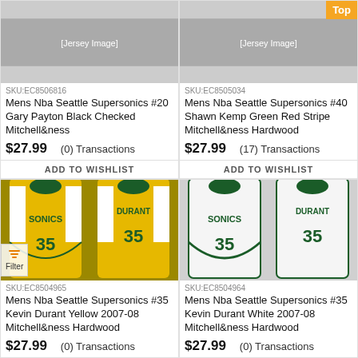[Figure (photo): Yellow Sonics #20 Gary Payton basketball jersey (partial/top of image)]
SKU:EC8506816
Mens Nba Seattle Supersonics #20 Gary Payton Black Checked Mitchell&ness
$27.99    (0) Transactions
ADD TO WISHLIST
[Figure (photo): White/green Sonics #40 Shawn Kemp basketball jersey (partial/top of image)]
SKU:EC8505034
Mens Nba Seattle Supersonics #40 Shawn Kemp Green Red Stripe Mitchell&ness Hardwood
$27.99    (17) Transactions
ADD TO WISHLIST
[Figure (photo): Yellow Sonics Durant #35 basketball jersey, front and back view]
SKU:EC8504965
Mens Nba Seattle Supersonics #35 Kevin Durant Yellow 2007-08 Mitchell&ness Hardwood
$27.99    (0) Transactions
[Figure (photo): White Sonics Durant #35 basketball jersey, front and back view]
SKU:EC8504964
Mens Nba Seattle Supersonics #35 Kevin Durant White 2007-08 Mitchell&ness Hardwood
$27.99    (0) Transactions